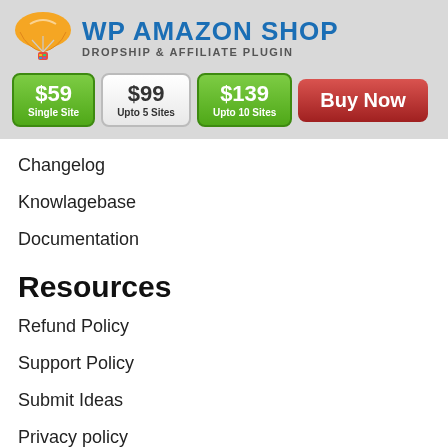[Figure (logo): WP Amazon Shop logo with parachute icon, title 'WP AMAZON SHOP' and subtitle 'DROPSHIP & AFFILIATE PLUGIN', with pricing buttons $59 Single Site, $99 Upto 5 Sites, $139 Upto 10 Sites, and a Buy Now button]
Changelog
Knowlagebase
Documentation
Resources
Refund Policy
Support Policy
Submit Ideas
Privacy policy